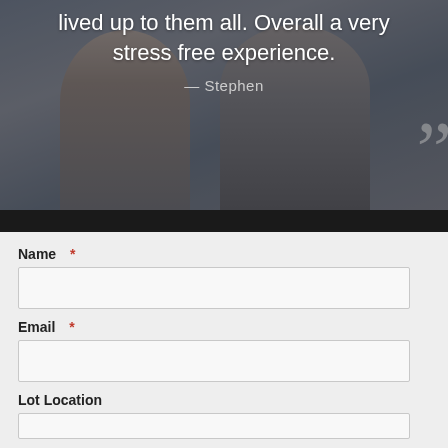[Figure (photo): A couple smiling together as background photo with dark overlay, white quotation text overlay reading 'lived up to them all. Overall a very stress free experience.' attributed to Stephen, with large closing quotation marks on the right side]
lived up to them all. Overall a very stress free experience.
— Stephen
Name *
Email *
Lot Location